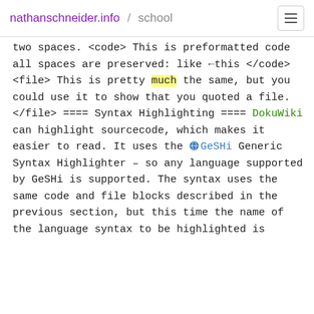nathanschneider.info / school
two spaces. <code> This is preformatted code all spaces are preserved: like ←this </code> <file> This is pretty much the same, but you could use it to show that you quoted a file. </file> ==== Syntax Highlighting ==== DokuWiki can highlight sourcecode, which makes it easier to read. It uses the 🌐 GeSHi Generic Syntax Highlighter – so any language supported by GeSHi is supported. The syntax uses the same code and file blocks described in the previous section, but this time the name of the language syntax to be highlighted is